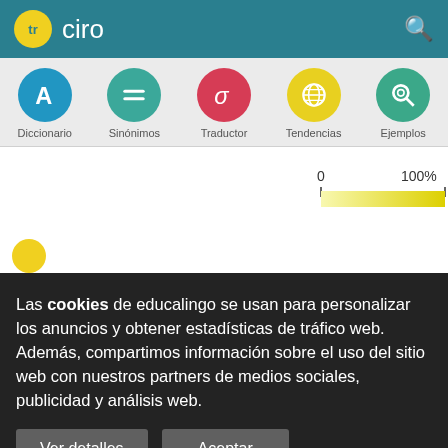tr ciro
[Figure (screenshot): Navigation icons: Diccionario (blue circle with A), Sinónimos (teal circle with equals), Traductor (red circle with sigma), Tendencias (yellow circle with globe), Ejemplos (teal circle with magnifier)]
[Figure (bar-chart): Usage bar 0 to 100%]
Las cookies de educalingo se usan para personalizar los anuncios y obtener estadísticas de tráfico web. Además, compartimos información sobre el uso del sitio web con nuestros partners de medios sociales, publicidad y análisis web.
Ver detalles    Aceptar